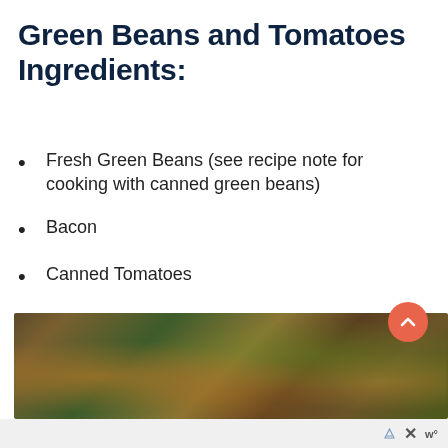Green Beans and Tomatoes Ingredients:
Fresh Green Beans (see recipe note for cooking with canned green beans)
Bacon
Canned Tomatoes
Onion
Garlic
Chicken Broth
[Figure (photo): Close-up photo of green beans and tomatoes dish, blurred/out of focus, showing green beans with tomatoes and golden-brown bits.]